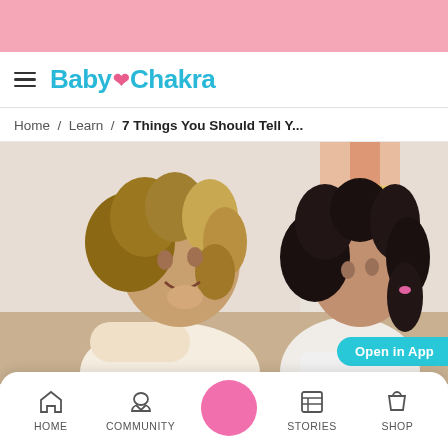BabyChakra — pink top banner
Baby❤Chakra — navbar with hamburger menu and logo
Home / Learn / 7 Things You Should Tell Y...
[Figure (photo): A woman with curly hair smiling and talking to a young girl with dark hair in a bright indoor setting. The photo is the article header image.]
Bottom navigation bar with HOME, COMMUNITY, center pink button, STORIES, SHOP